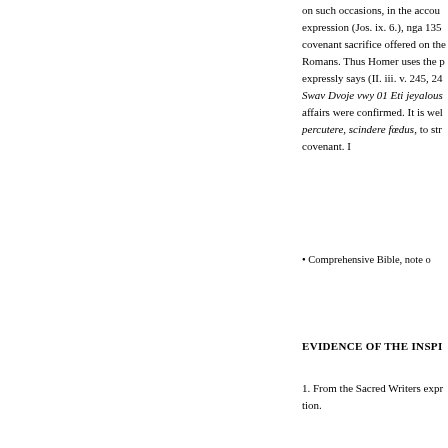on such occasions, in the accou expression (Jos. ix. 6.), nga 135 covenant sacrifice offered on the Romans. Thus Homer uses the p expressly says (II. iii. v. 245, 24 Swav Dvoje vwy 01 Eti jeyalous affairs were confirmed. It is wel percutere, scindere fœdus, to str covenant. I
Comprehensive Bible, note o
EVIDENCE OF THE INSPI
1. From the Sacred Writers expr tion.